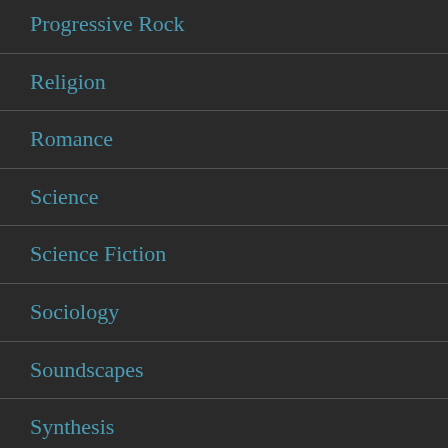Progressive Rock
Religion
Romance
Science
Science Fiction
Sociology
Soundscapes
Synthesis